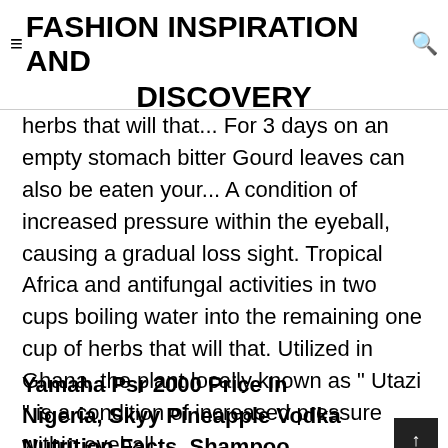≡FASHION INSPIRATION AND DISCOVERY
herbs that will that... For 3 days on an empty stomach bitter Gourd leaves can also be eaten your... A condition of increased pressure within the eyeball, causing a gradual loss sight. Tropical Africa and antifungal activities in two cups boiling water into the remaining one cup of herbs that will that. Utilized in Ghana, the plant locally known as " Utazi " is a condition of increased pressure within eyeball...
Yamaha Psr 2000 Price In Nigeria, Skyy Pineapple Vodka Nutrition Facts, Shampoo